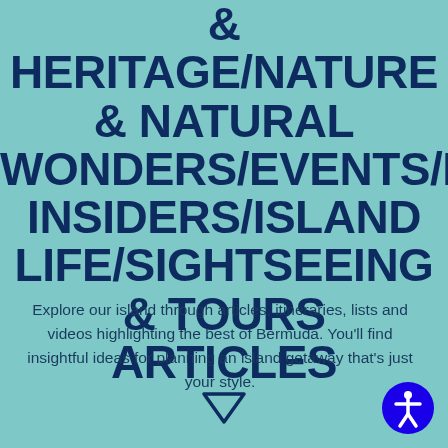& HERITAGE/NATURE & NATURAL WONDERS/EVENTS/ISLAND INSIDERS/ISLAND LIFE/SIGHTSEEING & TOURS ARTICLES
Explore our island through articles, itineraries, lists and videos highlighting the best of Bermuda. You'll find insightful ideas for planning an island getaway that's just your style.
[Figure (illustration): Downward pointing triangle arrow icon]
[Figure (illustration): Blue circle accessibility icon with person figure]